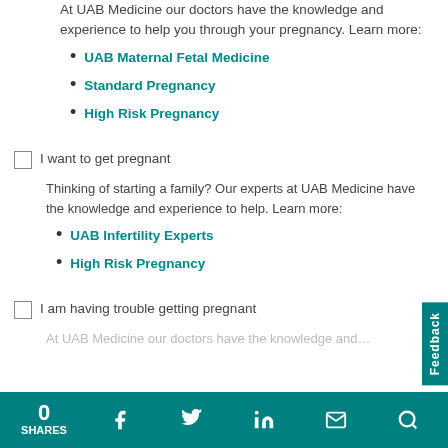At UAB Medicine our doctors have the knowledge and experience to help you through your pregnancy. Learn more:
UAB Maternal Fetal Medicine
Standard Pregnancy
High Risk Pregnancy
I want to get pregnant
Thinking of starting a family? Our experts at UAB Medicine have the knowledge and experience to help. Learn more:
UAB Infertility Experts
High Risk Pregnancy
I am having trouble getting pregnant
At UAB Medicine our doctors have the knowledge and experience...
0 SHARES  Facebook  Twitter  LinkedIn  Email  Search  Feedback